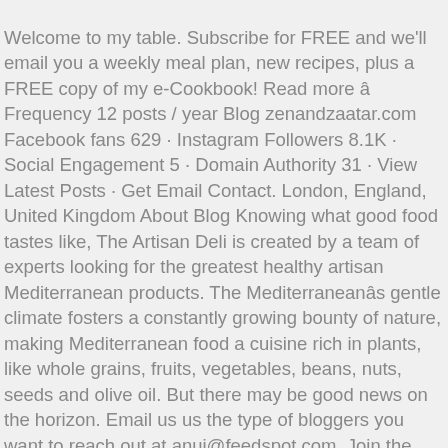Welcome to my table. Subscribe for FREE and we'll email you a weekly meal plan, new recipes, plus a FREE copy of my e-Cookbook! Read more â Frequency 12 posts / year Blog zenandzaatar.com Facebook fans 629 · Instagram Followers 8.1K · Social Engagement 5 · Domain Authority 31 · View Latest Posts · Get Email Contact. London, England, United Kingdom About Blog Knowing what good food tastes like, The Artisan Deli is created by a team of experts looking for the greatest healthy artisan Mediterranean products. The Mediterraneanâs gentle climate fosters a constantly growing bounty of nature, making Mediterranean food a cuisine rich in plants, like whole grains, fruits, vegetables, beans, nuts, seeds and olive oil. But there may be good news on the horizon. Email us us the type of bloggers you want to reach out at anuj@feedspot.com. Join the Movement and live your best life! We routinely remove inactive blogs and those which are no longer relevant to a given list. The Mediterranean diet has been shown to reduce risk of heart disease, metabolic syndrome,